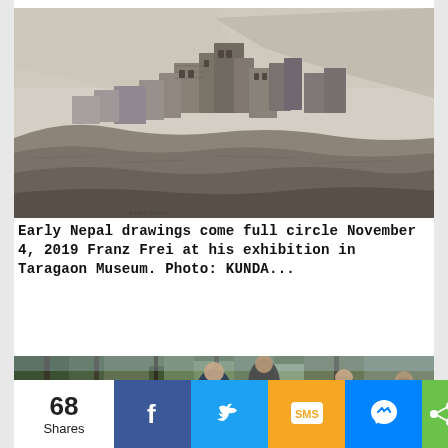[Figure (illustration): Pencil sketch/drawing of a hillside Himalayan village or fortress with multi-storey stone buildings clustered on rocky terrain, mountains in background]
Early Nepal drawings come full circle November 4, 2019 Franz Frei at his exhibition in Taragaon Museum. Photo: KUNDA...
[Figure (photo): Photograph of three young men standing outdoors among trees, in a park-like setting]
68 Shares
[Figure (infographic): Social share bar with Facebook, Twitter, SMS, Messenger, and share buttons]